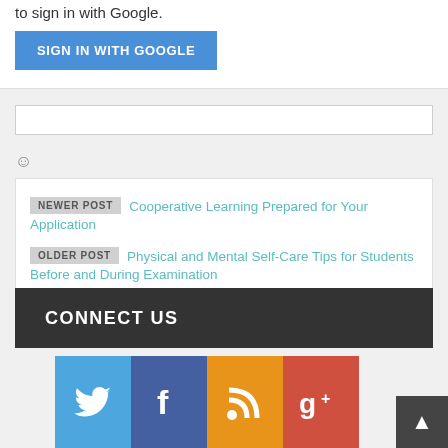to sign in with Google.
[Figure (other): Blue 'SIGN IN WITH GOOGLE' button]
[Figure (other): Empty comment text input box]
[Figure (other): Smiley face emoji icon]
NEWER POST  Cooperative Learning Prepared for Your Application
OLDER POST  Physical and Mental Self-Care Tips for Students Before and During Examination
CONNECT US
[Figure (infographic): Social media icons row: Twitter (blue bird), Facebook (f), RSS (orange), Google+ (g+)]
[Figure (other): Back to top button with upward arrow]